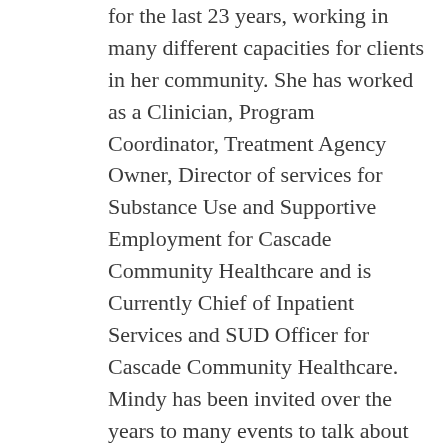for the last 23 years, working in many different capacities for clients in her community. She has worked as a Clinician, Program Coordinator, Treatment Agency Owner, Director of services for Substance Use and Supportive Employment for Cascade Community Healthcare and is Currently Chief of Inpatient Services and SUD Officer for Cascade Community Healthcare. Mindy has been invited over the years to many events to talk about how she structures her programs and educates the public about Substance Use and how those that suffer from it can become productive citizens. She was Co-Chair of the legislative subcommittee in integrating Mental Health and Substance Use Disorder in the Behavioral Health Organization (BHO). In 2015